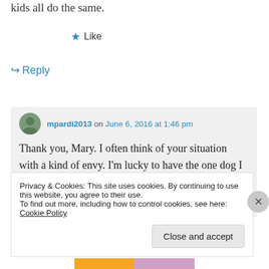kids all do the same.
★ Like
↪ Reply
mpardi2013 on June 6, 2016 at 1:46 pm
Thank you, Mary. I often think of your situation with a kind of envy. I'm lucky to have the one dog I do. Years ago I read a simple study of people meeting dogs, and
Privacy & Cookies: This site uses cookies. By continuing to use this website, you agree to their use.
To find out more, including how to control cookies, see here: Cookie Policy
Close and accept